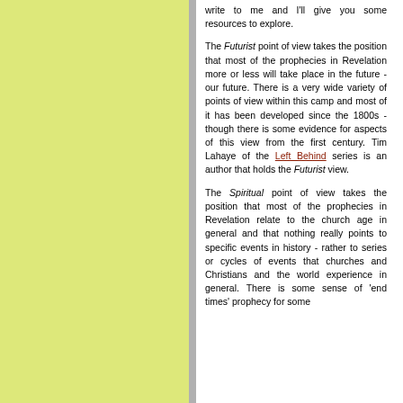write to me and I'll give you some resources to explore.
The Futurist point of view takes the position that most of the prophecies in Revelation more or less will take place in the future - our future. There is a very wide variety of points of view within this camp and most of it has been developed since the 1800s - though there is some evidence for aspects of this view from the first century. Tim Lahaye of the Left Behind series is an author that holds the Futurist view.
The Spiritual point of view takes the position that most of the prophecies in Revelation relate to the church age in general and that nothing really points to specific events in history - rather to series or cycles of events that churches and Christians and the world experience in general. There is some sense of 'end times' prophecy for some